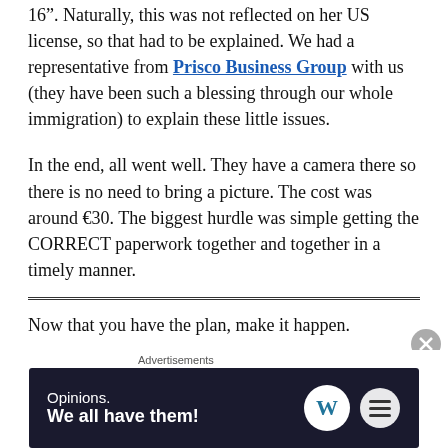16". Naturally, this was not reflected on her US license, so that had to be explained. We had a representative from Prisco Business Group with us (they have been such a blessing through our whole immigration) to explain these little issues.
In the end, all went well. They have a camera there so there is no need to bring a picture. The cost was around €30. The biggest hurdle was simple getting the CORRECT paperwork together and together in a timely manner.
Now that you have the plan, make it happen.
(1)One sample location where you can get your physical is Medical One in Lisbon. A quick check of their website will show you what to look for when you search for a location in
[Figure (other): Advertisement banner: dark navy background with text 'Opinions. We all have them!' and WordPress and another logo icon on the right. Labeled 'Advertisements' above.]